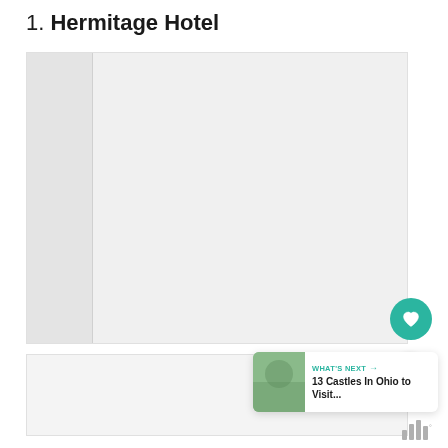1. Hermitage Hotel
[Figure (photo): Large hotel image placeholder with left sidebar thumbnail strip, shown as light gray box]
[Figure (photo): Bottom hotel image placeholder shown as light gray box]
[Figure (infographic): Heart/favorite button (teal circle with white heart icon)]
[Figure (infographic): Share button (white circle with share icon)]
[Figure (infographic): What's Next card showing '13 Castles In Ohio to Visit...' with thumbnail]
[Figure (other): Trips app icon bars at bottom right]